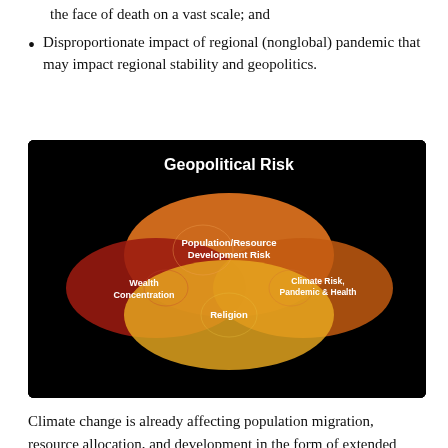the face of death on a vast scale; and
Disproportionate impact of regional (nonglobal) pandemic that may impact regional stability and geopolitics.
[Figure (infographic): Venn-diagram style infographic on black background showing 'Geopolitical Risk' at top in bold white text, with four overlapping oval shapes: orange 'Population/Resource Development Risk' (top center), dark red 'Wealth Concentration' (left), brown-orange 'Climate Risk, Pandemic & Health' (right), and yellow-orange 'Religion' (bottom center). All ovals overlap in the center.]
Climate change is already affecting population migration, resource allocation, and development in the form of extended droughts, famine, and resource decline—and resultant record numbers of